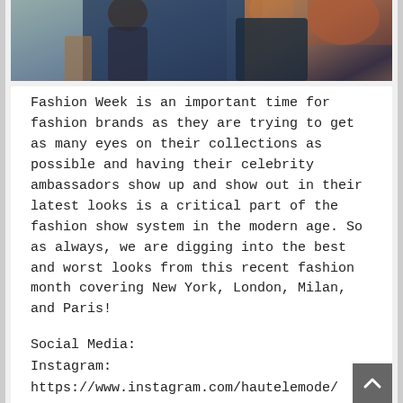[Figure (photo): Cropped photo showing people at a fashion event, dark clothing visible against a lighter background]
Fashion Week is an important time for fashion brands as they are trying to get as many eyes on their collections as possible and having their celebrity ambassadors show up and show out in their latest looks is a critical part of the fashion show system in the modern age. So as always, we are digging into the best and worst looks from this recent fashion month covering New York, London, Milan, and Paris!
Social Media:
Instagram: https://www.instagram.com/hautelemode/
Personal Style:
https://www.instagram.com/hautelemess/
Twitter: https://twitter.com/HauteLeMess